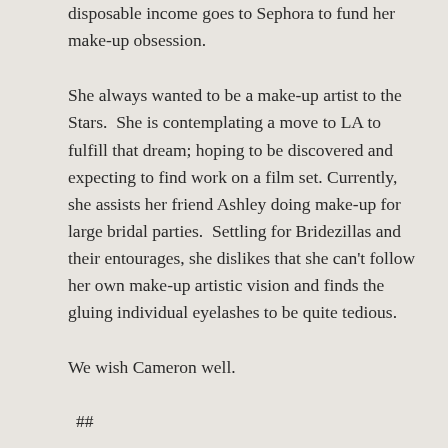disposable income goes to Sephora to fund her make-up obsession.
She always wanted to be a make-up artist to the Stars.  She is contemplating a move to LA to fulfill that dream; hoping to be discovered and expecting to find work on a film set. Currently, she assists her friend Ashley doing make-up for large bridal parties.  Settling for Bridezillas and their entourages, she dislikes that she can't follow her own make-up artistic vision and finds the gluing individual eyelashes to be quite tedious.
We wish Cameron well.
##
Kindly note that Cameron and all the Intriguing Face character stories are fictional and any resemblance to an